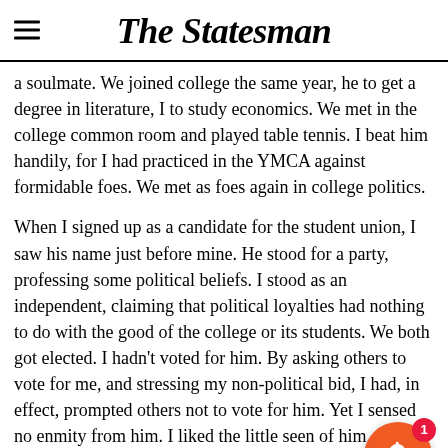The Statesman
a soulmate. We joined college the same year, he to get a degree in literature, I to study economics. We met in the college common room and played table tennis. I beat him handily, for I had practiced in the YMCA against formidable foes. We met as foes again in college politics.
When I signed up as a candidate for the student union, I saw his name just before mine. He stood for a party, professing some political beliefs. I stood as an independent, claiming that political loyalties had nothing to do with the good of the college or its students. We both got elected. I hadn't voted for him. By asking others to vote for me, and stressing my non-political bid, I had, in effect, prompted others not to vote for him. Yet I sensed no enmity from him. I liked the little seen of him.
He seemed earnest and decent. I invited him for a chat. When I